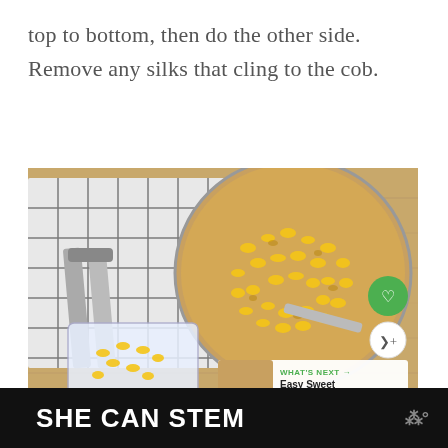top to bottom, then do the other side. Remove any silks that cling to the cob.
[Figure (photo): Overhead view of a pot filled with cut corn kernels, a measuring cup with corn, tongs, and a checkered kitchen towel on a wood surface. Social sharing buttons and a 'What's Next - Easy Sweet Pickled...' overlay visible.]
SHE CAN STEM